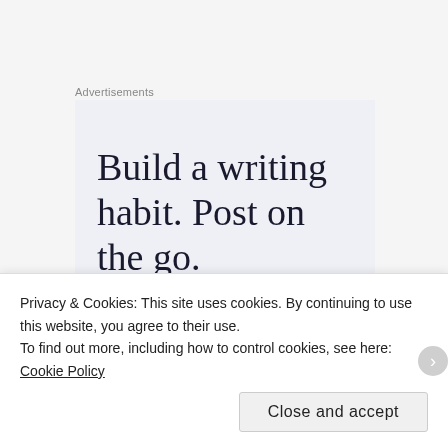Advertisements
[Figure (other): Advertisement banner with text: Build a writing habit. Post on the go.]
King Collier, Andrea. “What are they thinking? Talking to Trump voters without judgment (and
Privacy & Cookies: This site uses cookies. By continuing to use this website, you agree to their use.
To find out more, including how to control cookies, see here: Cookie Policy
Close and accept